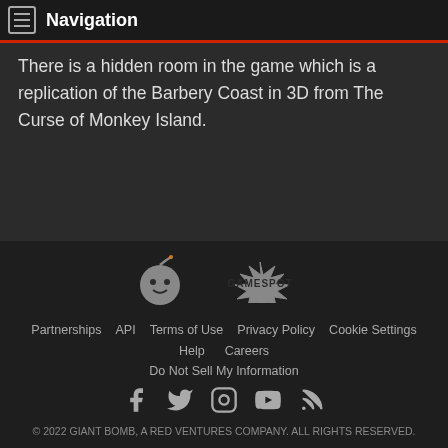Navigation
There is a hidden room in the game which is a replication of the Barbery Coast in 3D from The Curse of Monkey Island.
[Figure (logo): Giant Bomb logo (cartoon face with bomb fuse) and GameSpot logo side by side in footer]
Partnerships  API  Terms of Use  Privacy Policy  Cookie Settings  Help  Careers  Do Not Sell My Information  © 2022 GIANT BOMB, A RED VENTURES COMPANY. ALL RIGHTS RESERVED.